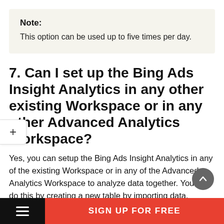Note: This option can be used up to five times per day.
7. Can I set up the Bing Ads Insight Analytics in any other existing Workspace or in any other Advanced Analytics Workspace?
Yes, you can setup the Bing Ads Insight Analytics in any of the existing Workspace or in any of the Advanced Analytics Workspace to analyze data together. You can do this by creating a new table by importing data.
SIGN UP FOR FREE